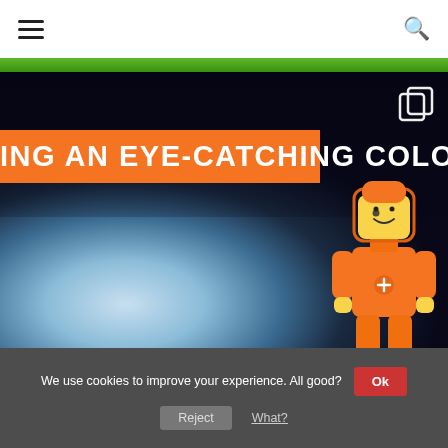Navigation bar with hamburger menu and search icon
[Figure (screenshot): Website screenshot showing a hero image with a dark space/earth background, an orange LEGO astronaut figure on the right, a green strip at the top of the image area, an orange banner with bold white text reading 'ING AN EYE-CATCHING COLOR' (partially cropped from left), and a duplicate/copy icon in the top-right corner of the hero.]
ING AN EYE-CATCHING COLOR
We use cookies to improve your experience. All good? Ok Reject What?